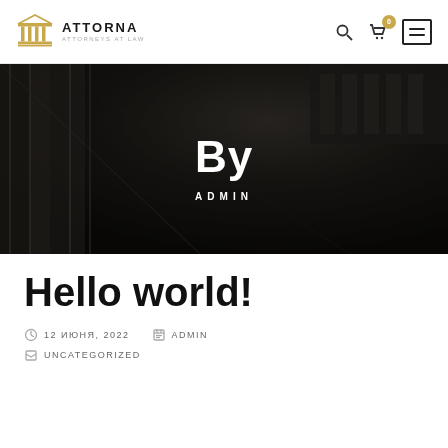[Figure (logo): Attorna law firm logo with gold temple/columns icon and text ATTORNA ATTORNEYS AT LAW]
[Figure (photo): Dark hero banner with photograph of classical building columns viewed from below at an angle, overlaid with text By ADMIN]
Hello world!
12 ИЮНЯ, 2022   ADMIN
UNCATEGORIZED